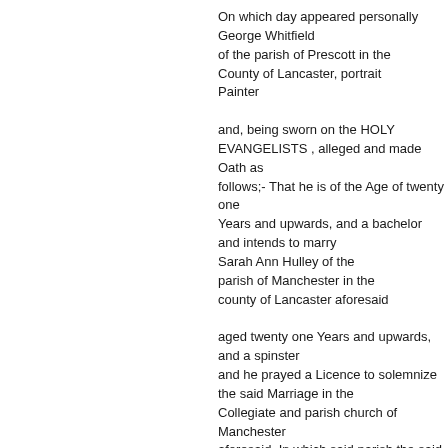On which day appeared personally George Whitfield of the parish of Prescott in the County of Lancaster, portrait Painter

and, being sworn on the HOLY EVANGELISTS , alleged and made Oath as follows;- That he is of the Age of twenty one Years and upwards, and a bachelor and intends to marry Sarah Ann Hulley of the parish of Manchester in the county of Lancaster aforesaid

aged twenty one Years and upwards, and a spinster and he prayed a Licence to solemnize the said Marriage in the Collegiate and parish church of Manchester aforesaid. In which said parish the said George Whitfield further made Oath, That the said Sarah Ann Hulley hath had her usual Abode for the Space of Fifteen days now immediately preceding.